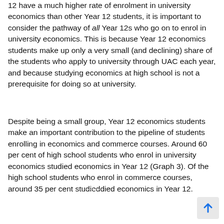12 have a much higher rate of enrolment in university economics than other Year 12 students, it is important to consider the pathway of all Year 12s who go on to enrol in university economics. This is because Year 12 economics students make up only a very small (and declining) share of the students who apply to university through UAC each year, and because studying economics at high school is not a prerequisite for doing so at university.
Despite being a small group, Year 12 economics students make an important contribution to the pipeline of students enrolling in economics and commerce courses. Around 60 per cent of high school students who enrol in university economics studied economics in Year 12 (Graph 3). Of the high school students who enrol in commerce courses, around 35 per cent studied economics in Year 12.